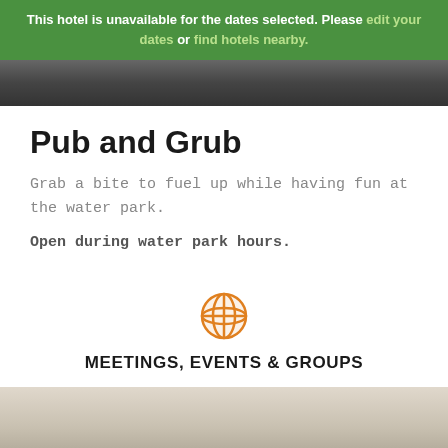This hotel is unavailable for the dates selected. Please edit your dates or find hotels nearby.
[Figure (photo): Dark background food/restaurant photo strip at top]
Pub and Grub
Grab a bite to fuel up while having fun at the water park.
Open during water park hours.
[Figure (illustration): Orange globe/network icon for Meetings, Events & Groups section]
MEETINGS, EVENTS & GROUPS
[Figure (photo): Food/meeting related photo strip at bottom]